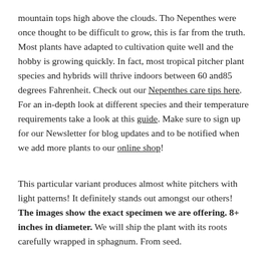mountain tops high above the clouds. Tho Nepenthes were once thought to be difficult to grow, this is far from the truth. Most plants have adapted to cultivation quite well and the hobby is growing quickly. In fact, most tropical pitcher plant species and hybrids will thrive indoors between 60 and85 degrees Fahrenheit. Check out our Nepenthes care tips here.  For an in-depth look at different species and their temperature requirements take a look at this guide. Make sure to sign up for our Newsletter for blog updates and to be notified when we add more plants to our online shop!
This particular variant produces almost white pitchers with light patterns! It definitely stands out amongst our others!  The images show the exact specimen we are offering. 8+ inches in diameter. We will ship the plant with its roots carefully wrapped in sphagnum. From seed.